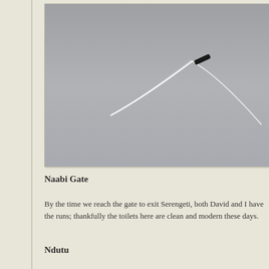[Figure (photo): A gray sky photograph showing a white contrail or thin curved line (possibly a bird in flight or aircraft trail) against a uniform gray background. The line forms a gentle V or curve shape with a dark spot near its peak.]
Naabi Gate
By the time we reach the gate to exit Serengeti, both David and I have the runs; thankfully the toilets here are clean and modern these days.
Ndutu